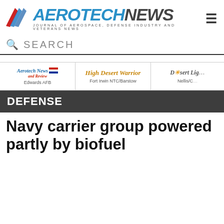[Figure (logo): Aerotech News logo with wing chevron graphic and tagline: Journal of Aerospace, Defense Industry and Veterans News]
[Figure (screenshot): Search bar with magnifying glass icon and SEARCH label]
[Figure (logo): Aerotech News and Review publication logo for Edwards AFB]
[Figure (logo): High Desert Warrior publication logo for Fort Irwin NTC/Barstow]
[Figure (logo): Desert Light publication logo for Nellis/CA area]
DEFENSE
Navy carrier group powered partly by biofuel